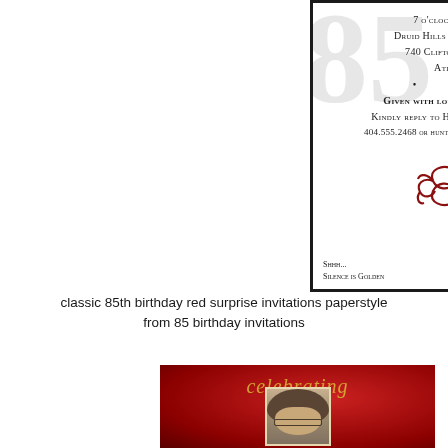[Figure (illustration): White birthday party invitation card with black border, large light gray '85' watermark numbers in background, centered text lines for party details including time, venue, address, city, decorative dots, RSVP info, red ornamental flourish at bottom center, and small text flanking it]
classic 85th birthday red surprise invitations paperstyle from 85 birthday invitations
[Figure (illustration): Dark red invitation card with radial gradient background, gold italic script 'celebrating' text at top, and a photo of a person with curly hair and glasses in a cream-bordered frame at bottom center]